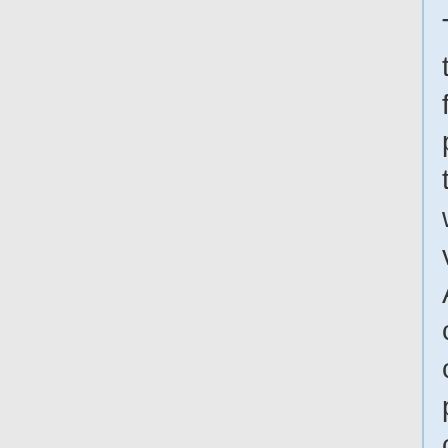This section of the bungalow features a potted palm tree adorned with beads in various colors. A scroll-covered oaken counter provides a cramped workspace for the crafter to perform his duties. Two